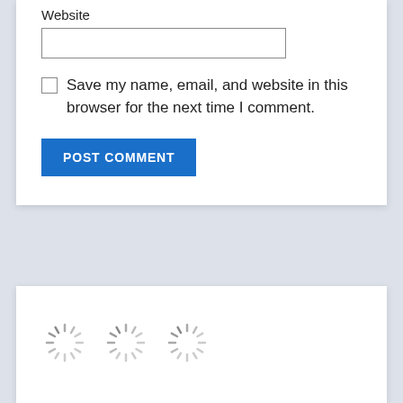Website
Save my name, email, and website in this browser for the next time I comment.
POST COMMENT
[Figure (other): Three loading spinner icons (circular dashed spinners) side by side on a white card background]